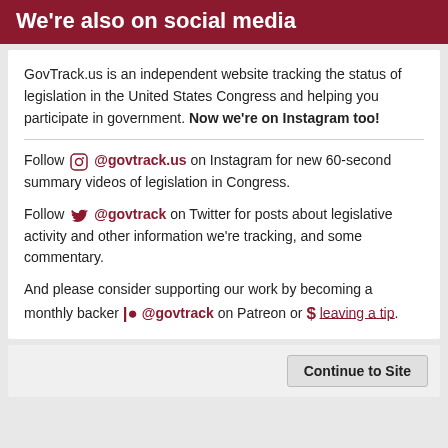We're also on social media
GovTrack.us is an independent website tracking the status of legislation in the United States Congress and helping you participate in government. Now we're on Instagram too!
Follow @govtrack.us on Instagram for new 60-second summary videos of legislation in Congress.
Follow @govtrack on Twitter for posts about legislative activity and other information we're tracking, and some commentary.
And please consider supporting our work by becoming a monthly backer @govtrack on Patreon or $ leaving a tip.